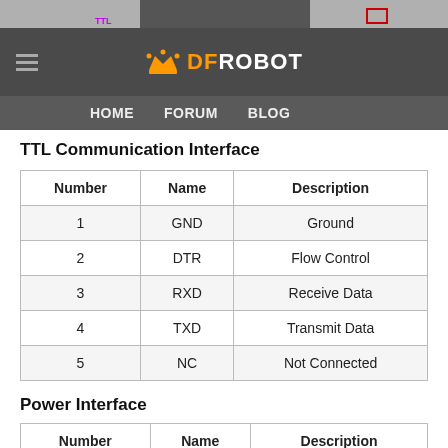DFRobot navigation bar with HOME, FORUM, BLOG
[Figure (screenshot): Partial screenshot of a circuit board with TTL label and PIN1 marker visible at top, overlaid by DFRobot website navigation bar.]
TTL Communication Interface
| Number | Name | Description |
| --- | --- | --- |
| 1 | GND | Ground |
| 2 | DTR | Flow Control |
| 3 | RXD | Receive Data |
| 4 | TXD | Transmit Data |
| 5 | NC | Not Connected |
Power Interface
| Number | Name | Description |
| --- | --- | --- |